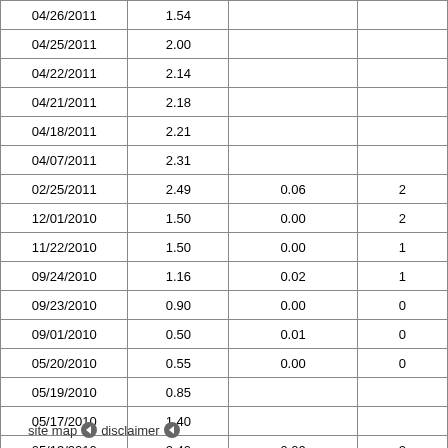| Date | Value | Col3 | Col4 |
| --- | --- | --- | --- |
| 04/26/2011 | 1.54 |  |  |
| 04/25/2011 | 2.00 |  |  |
| 04/22/2011 | 2.14 |  |  |
| 04/21/2011 | 2.18 |  |  |
| 04/18/2011 | 2.21 |  |  |
| 04/07/2011 | 2.31 |  |  |
| 02/25/2011 | 2.49 | 0.06 | 2 |
| 12/01/2010 | 1.50 | 0.00 | 2 |
| 11/22/2010 | 1.50 | 0.00 | 1 |
| 09/24/2010 | 1.16 | 0.02 | 1 |
| 09/23/2010 | 0.90 | 0.00 | 0 |
| 09/01/2010 | 0.50 | 0.01 | 0 |
| 05/20/2010 | 0.55 | 0.00 | 0 |
| 05/19/2010 | 0.85 |  |  |
| 05/17/2010 | 1.40 |  |  |
| 05/13/2010 | 2.40 | 0.00 | 2 |
| 05/11/2010 | 1.75 | 0.00 | 1 |
| 05/10/2010 | 0.92 | 0.02 | 2 |
site map  disclaimer